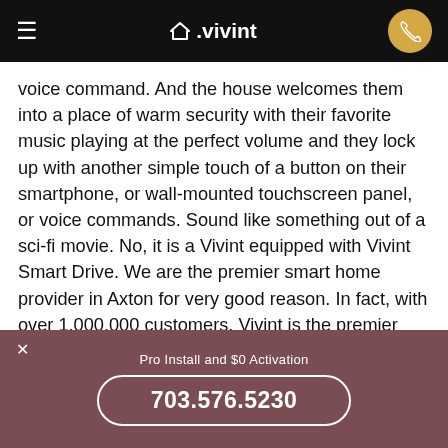≡  △.vivint  [phone icon]
voice command. And the house welcomes them into a place of warm security with their favorite music playing at the perfect volume and they lock up with another simple touch of a button on their smartphone, or wall-mounted touchscreen panel, or voice commands. Sound like something out of a sci-fi movie. No, it is a Vivint equipped with Vivint Smart Drive. We are the premier smart home provider in Axton for very good reason. In fact, with over 1,000,000 customers, Vivint is the premier provider in North America. Vivint offers much more than basic programmability. We bring all of your devices together into a connected system that can be controlled from anywhere with an internet connection. The post Vivint Smart Driv…
Pro Install and $0 Activation
703.576.5230